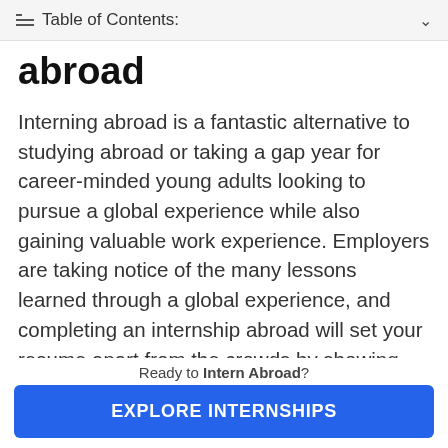Table of Contents:
abroad
Interning abroad is a fantastic alternative to studying abroad or taking a gap year for career-minded young adults looking to pursue a global experience while also gaining valuable work experience. Employers are taking notice of the many lessons learned through a global experience, and completing an internship abroad will set your resume apart from the crowds by showing your ability to adapt to new and challenging circumstances. The Insitute of
Ready to Intern Abroad?
EXPLORE INTERNSHIPS